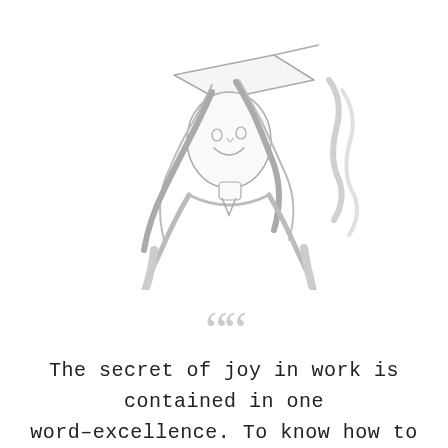[Figure (illustration): Pencil sketch illustration of a person smiling, wearing a graduation cap, with arms raised holding what appears to be a diploma or book above their head. The figure is drawn in light gray line art style.]
““
The secret of joy in work is contained in one word–excellence. To know how to do